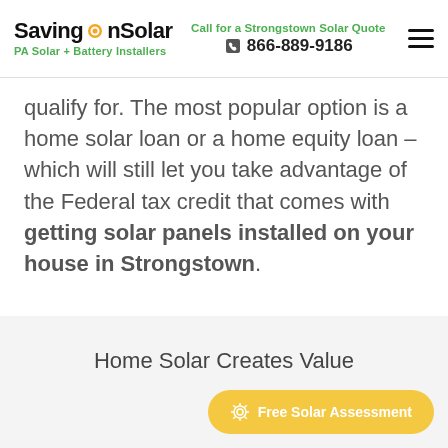SavingOnSolar — Call for a Strongstown Solar Quote — 866-889-9186 — PA Solar + Battery Installers
qualify for. The most popular option is a home solar loan or a home equity loan – which will still let you take advantage of the Federal tax credit that comes with getting solar panels installed on your house in Strongstown.
Home Solar Creates Value
Free Solar Assessment